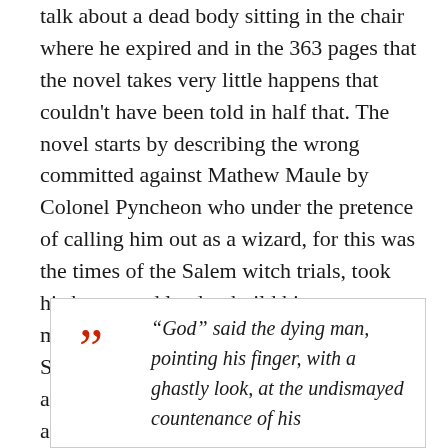talk about a dead body sitting in the chair where he expired and in the 363 pages that the novel takes very little happens that couldn't have been told in half that. The novel starts by describing the wrong committed against Mathew Maule by Colonel Pyncheon who under the pretence of calling him out as a wizard, for this was the times of the Salem witch trials, took his house and land to build his own mansion on, the eponymous House of the Seven Gables. Maule curses the Colonel as he is on the gallows that he shall die and very specifically
“God” said the dying man, pointing his finger, with a ghastly look, at the undismayed countenance of his